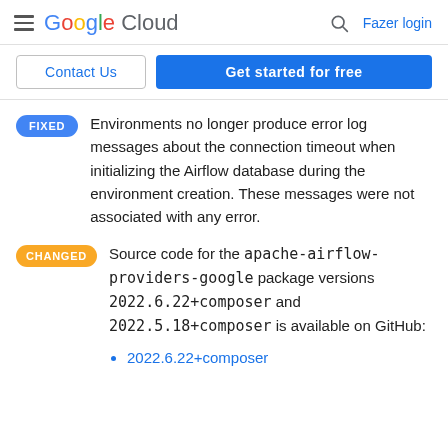Google Cloud — Search — Fazer login
Contact Us | Get started for free
FIXED: Environments no longer produce error log messages about the connection timeout when initializing the Airflow database during the environment creation. These messages were not associated with any error.
CHANGED: Source code for the apache-airflow-providers-google package versions 2022.6.22+composer and 2022.5.18+composer is available on GitHub:
2022.6.22+composer